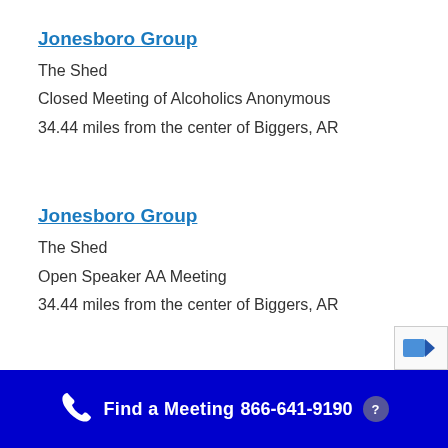Jonesboro Group
The Shed
Closed Meeting of Alcoholics Anonymous
34.44 miles from the center of Biggers, AR
Jonesboro Group
The Shed
Open Speaker AA Meeting
34.44 miles from the center of Biggers, AR
Find a Meeting  866-641-9190